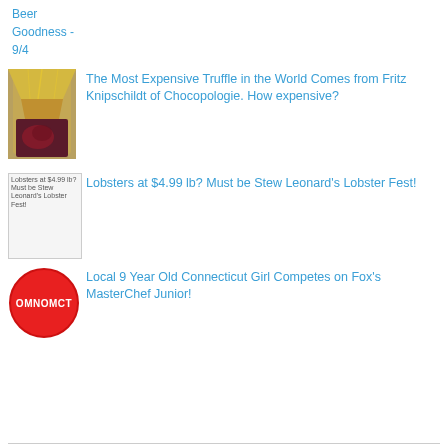Beer Goodness - 9/4
[Figure (photo): Truffle chocolate image]
The Most Expensive Truffle in the World Comes from Fritz Knipschildt of Chocopologie. How expensive?
[Figure (other): Broken image placeholder for Lobsters at $4.99 lb? Must be Stew Leonard's Lobster Fest!]
Lobsters at $4.99 lb? Must be Stew Leonard's Lobster Fest!
[Figure (logo): OMNOМCT red stop-sign style logo]
Local 9 Year Old Connecticut Girl Competes on Fox's MasterChef Junior!